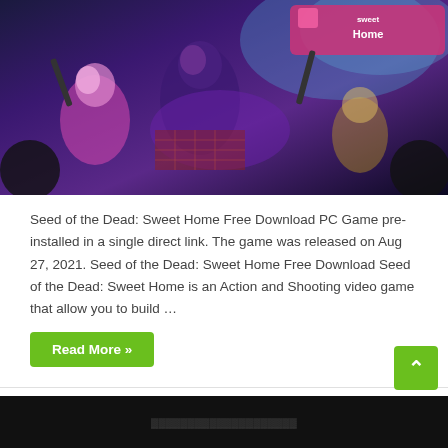[Figure (illustration): Anime-style video game artwork showing multiple characters with weapons against a dark purple/blue background with 'Sweet Home' logo text visible]
Seed of the Dead: Sweet Home Free Download PC Game pre-installed in a single direct link. The game was released on Aug 27, 2021. Seed of the Dead: Sweet Home Free Download Seed of the Dead: Sweet Home is an Action and Shooting video game that allow you to build …
Read More »
Download Aliens: Fireteam Elite PC Game Full Version (v1.00)
August 26, 2021  Action, RPG, Shooting  0
[Figure (screenshot): Dark video game screenshot at the bottom of the page]